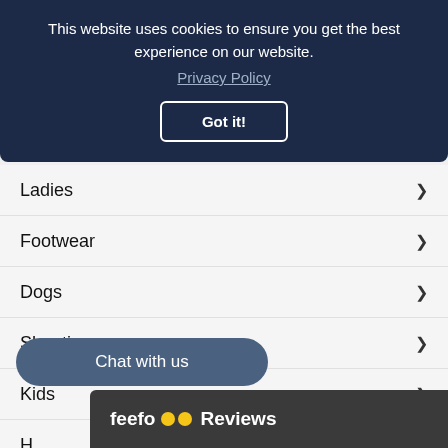This website uses cookies to ensure you get the best experience on our website. Privacy Policy
Got it!
Ladies
Footwear
Dogs
Shooting
Kids
H...
P...
B...
Chat with us
feefo Reviews